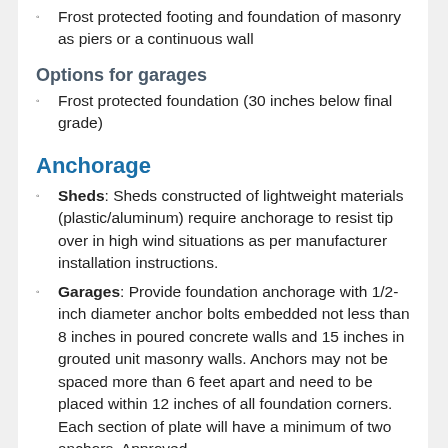Frost protected footing and foundation of masonry as piers or a continuous wall
Options for garages
Frost protected foundation (30 inches below final grade)
Anchorage
Sheds: Sheds constructed of lightweight materials (plastic/aluminum) require anchorage to resist tip over in high wind situations as per manufacturer installation instructions.
Garages: Provide foundation anchorage with 1/2-inch diameter anchor bolts embedded not less than 8 inches in poured concrete walls and 15 inches in grouted unit masonry walls. Anchors may not be spaced more than 6 feet apart and need to be placed within 12 inches of all foundation corners. Each section of plate will have a minimum of two anchors. Approved